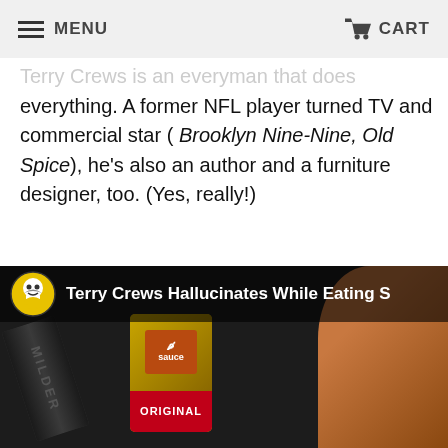MENU  CART
Terry Crews is an everyman that does everything. A former NFL player turned TV and commercial star ( Brooklyn Nine-Nine, Old Spice), he's also an author and a furniture designer, too. (Yes, really!)
Bonus: If you didn't have a healthy enough appreciation of Terry Crews before, watch his Hot Ones interview here and just try not to love the man.
[Figure (screenshot): YouTube video thumbnail for 'Terry Crews Hallucinates While Eating S' (Hot Ones episode) showing sauce bottles and a person, with the Hot Ones logo (skull with yellow beard in a circle) overlaid at top left]